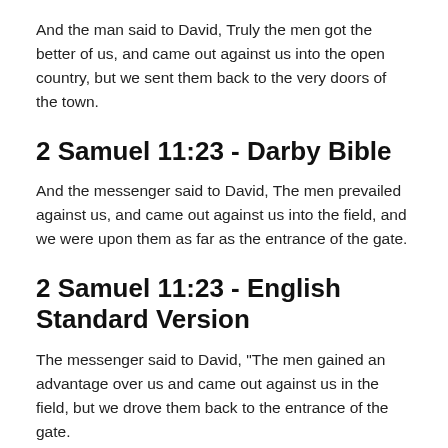And the man said to David, Truly the men got the better of us, and came out against us into the open country, but we sent them back to the very doors of the town.
2 Samuel 11:23 - Darby Bible
And the messenger said to David, The men prevailed against us, and came out against us into the field, and we were upon them as far as the entrance of the gate.
2 Samuel 11:23 - English Standard Version
The messenger said to David, "The men gained an advantage over us and came out against us in the field, but we drove them back to the entrance of the gate.